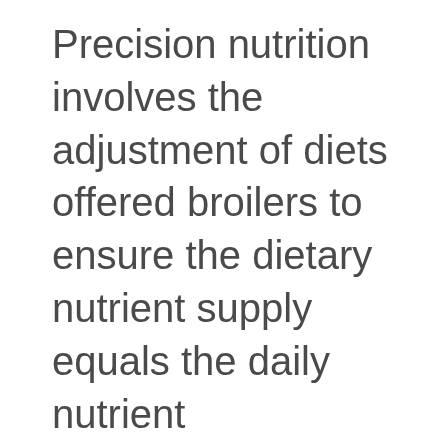Precision nutrition involves the adjustment of diets offered broilers to ensure the dietary nutrient supply equals the daily nutrient requirement, and thus takes the original multi-phase feeding concept to the extreme. Tailoring feed to the daily nutrient requirement of the flock